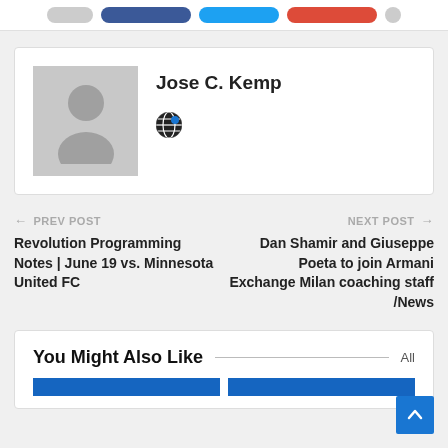[Figure (screenshot): Top share buttons bar with gray, dark blue (Facebook), light blue (Twitter), red (Google+), and gray circle buttons]
[Figure (photo): Author card with gray placeholder avatar silhouette and author name Jose C. Kemp with globe icon]
Jose C. Kemp
← PREV POST
Revolution Programming Notes | June 19 vs. Minnesota United FC
NEXT POST →
Dan Shamir and Giuseppe Poeta to join Armani Exchange Milan coaching staff /News
You Might Also Like
All